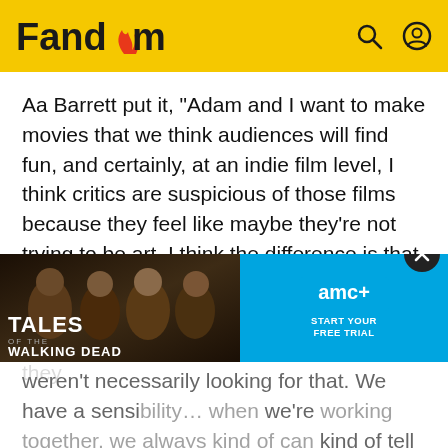Fandom
Aa Barrett put it, “Adam and I want to make movies that we think audiences will find fun, and certainly, at an indie film level, I think critics are suspicious of those films because they feel like maybe they’re not trying to be art. I think the difference is that Adam and I, we do feel like we’re making art, but we just also want people to feel like we’ve rewarded their time and money if they weren’t necessarily looking for that. We have a sensibility… when we’re working together, we always kind of can kind of tell like, ‘Oh, this is right, but this is wasting the audiences time, let’s cut it.’ Taking that sensibility
[Figure (screenshot): Advertisement for Tales of the Walking Dead on AMC+ with a close-up of cast members and a close button (X). AMC+ logo with 'START YOUR FREE TRIAL' text on blue background.]